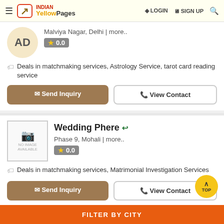INDIAN Yellow Pages | LOGIN | SIGN UP
Malviya Nagar, Delhi | more..
★ 0.0
Deals in matchmaking services, Astrology Service, tarot card reading service
Send Inquiry | View Contact
Wedding Phere
Phase 9, Mohali | more..
★ 0.0
Deals in matchmaking services, Matrimonial Investigation Services
Send Inquiry | View Contact
FILTER BY CITY